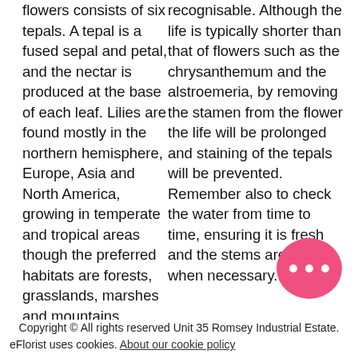flowers consists of six tepals. A tepal is a fused sepal and petal, and the nectar is produced at the base of each leaf. Lilies are found mostly in the northern hemisphere, Europe, Asia and North America, growing in temperate and tropical areas though the preferred habitats are forests, grasslands, marshes and mountains.
recognisable. Although the life is typically shorter than that of flowers such as the chrysanthemum and the alstroemeria, by removing the stamen from the flower the life will be prolonged and staining of the tepals will be prevented. Remember also to check the water from time to time, ensuring it is fresh and the stems are cut when necessary.
[Figure (illustration): Pink speech bubble / chat icon with three white dots]
Copyright © All rights reserved Unit 35 Romsey Industrial Estate.
eFlorist uses cookies. About our cookie policy